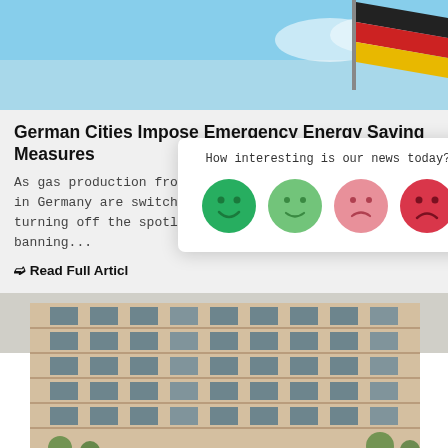[Figure (photo): Blue sky with a German flag (black, red, gold) flying on a flagpole]
German Cities Impose Emergency Energy Saving Measures
As gas production from Russia's Gazprom slows, cities in Germany are switching to cold water in pools, turning off the spotlights at public monuments and banning...
❯ Read Full Articl
[Figure (infographic): Feedback popup widget with text 'How interesting is our news today?' and four emoji faces: dark green happy, light green neutral, light red sad, dark red very sad]
[Figure (photo): Aerial view of a modern beige multi-story office/apartment building with many windows and trees visible at street level]